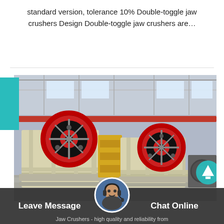standard version, tolerance 10% Double-toggle jaw crushers Design Double-toggle jaw crushers are…
[Figure (photo): Industrial jaw crushers in a factory/warehouse setting. Two large jaw crushers with prominent black and red flywheels are shown, with a yellow accent piece between them. The equipment is on a concrete floor in a large industrial building with steel roof trusses.]
Leave Message   Chat Online   Jaw Crushers - high quality and reliability from